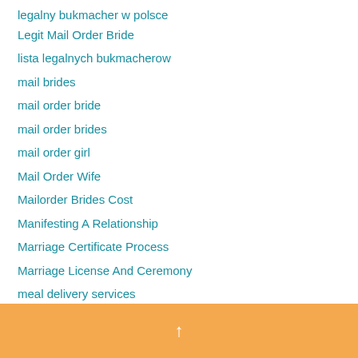legalny bukmacher w polsce
Legit Mail Order Bride
lista legalnych bukmacherow
mail brides
mail order bride
mail order brides
mail order girl
Mail Order Wife
Mailorder Brides Cost
Manifesting A Relationship
Marriage Certificate Process
Marriage License And Ceremony
meal delivery services
Meet The Most Comprehensive Ukraine Women In The World
↑